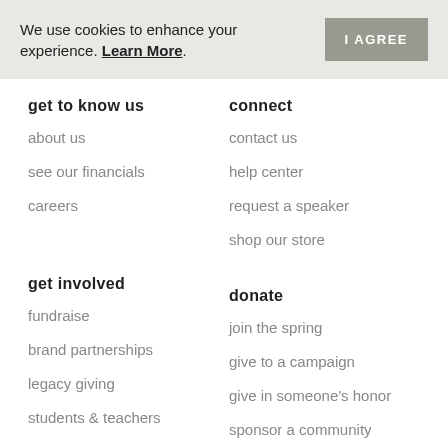We use cookies to enhance your experience. Learn More.
get to know us
about us
see our financials
careers
connect
contact us
help center
request a speaker
shop our store
get involved
fundraise
brand partnerships
legacy giving
students & teachers
donate
join the spring
give to a campaign
give in someone's honor
sponsor a community